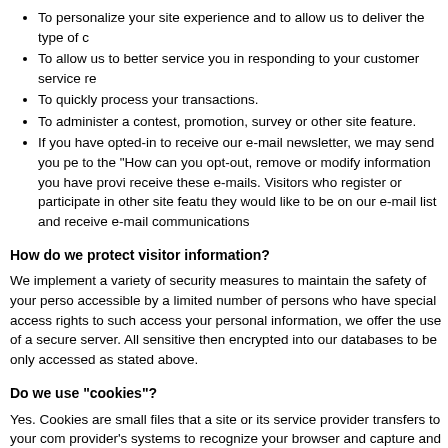To personalize your site experience and to allow us to deliver the type of c
To allow us to better service you in responding to your customer service re
To quickly process your transactions.
To administer a contest, promotion, survey or other site feature.
If you have opted-in to receive our e-mail newsletter, we may send you pe to the "How can you opt-out, remove or modify information you have provi receive these e-mails. Visitors who register or participate in other site featu they would like to be on our e-mail list and receive e-mail communications
How do we protect visitor information?
We implement a variety of security measures to maintain the safety of your perso accessible by a limited number of persons who have special access rights to such access your personal information, we offer the use of a secure server. All sensitive then encrypted into our databases to be only accessed as stated above.
Do we use "cookies"?
Yes. Cookies are small files that a site or its service provider transfers to your com provider's systems to recognize your browser and capture and remember certain i shopping cart. They are also used to help us understand your preferences based We also use cookies to help us compile aggregate data about site traffic and site i
We may contract with third-party service providers to assist us in better understan collected on our behalf except to help us conduct and improve our business.
You can choose to have your computer warn you each time a cookie is being sent Navigator or Internet Explorer) settings. Each browser is a little different, so look a off, you won't have access to many features that make your site experience more orders over the telephone by contacting customer service.